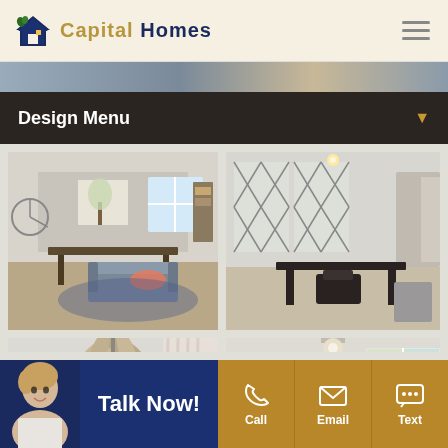Capital Homes
Design Menu
[Figure (photo): Four interior room photos of Capital Homes model homes: living/dining room with table and sofa, home office with black desk and chair, bedroom ceiling fan view, and bedroom with wall art]
Talk Now!
Call
Email
Text